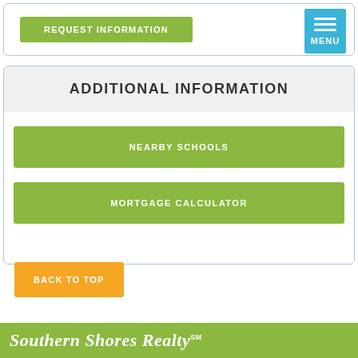REQUEST INFORMATION
MENU
ADDITIONAL INFORMATION
NEARBY SCHOOLS
MORTGAGE CALCULATOR
BACK TO TOP
Southern Shores Realty™